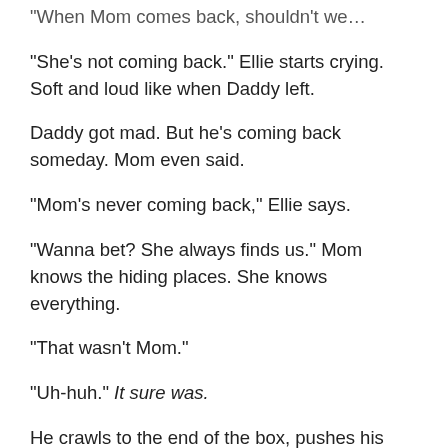“When Mom comes back, shouldn’t we…
“She’s not coming back.” Ellie starts crying. Soft and loud like when Daddy left.
Daddy got mad. But he’s coming back someday. Mom even said.
“Mom’s never coming back,” Ellie says.
“Wanna bet? She always finds us.” Mom knows the hiding places. She knows everything.
“That wasn’t Mom.”
“Uh-huh.” It sure was.
He crawls to the end of the box, pushes his way out and runs to the door to prove it. He pulls the cold knob with both hands, twists it and pulls harder.